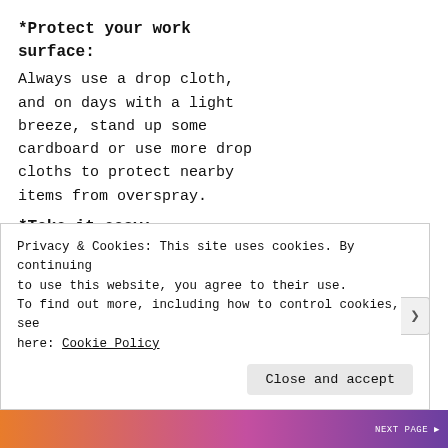*Protect your work surface:
Always use a drop cloth, and on days with a light breeze, stand up some cardboard or use more drop cloths to protect nearby items from overspray.
*Take it easy:
Use a light trigger finger on that spraypaint can to avoid a gloppy, drippy mess, friend. It should
Privacy & Cookies: This site uses cookies. By continuing to use this website, you agree to their use. To find out more, including how to control cookies, see here: Cookie Policy
Close and accept